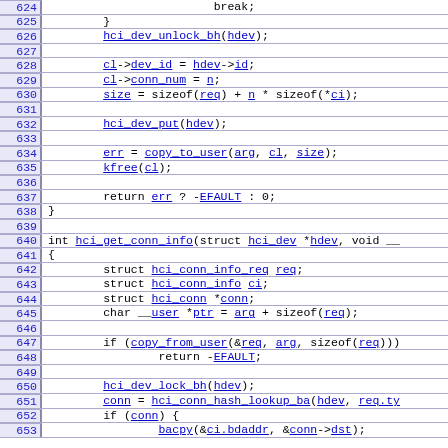Source code listing, lines 624-653, showing C kernel code for hci_get_conn_info function and related code.